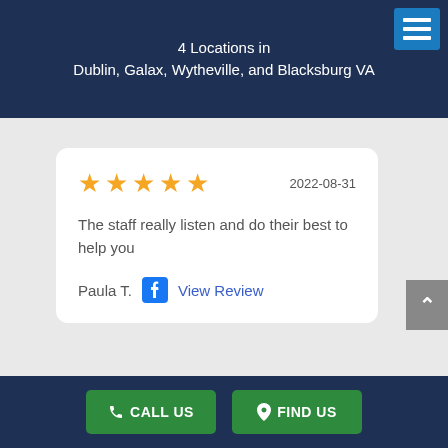4 Locations in Dublin, Galax, Wytheville, and Blacksburg VA
[Figure (other): Customer review card with 5 stars, date 2022-08-31, review text, reviewer name Paula T. and Facebook icon with View Review link]
The staff really listen and do their best to help you
Paula T.   View Review
CALL US   FIND US